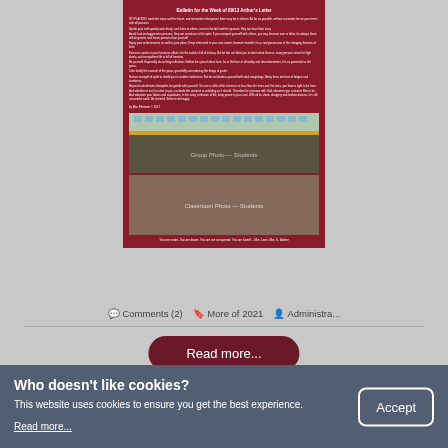[Figure (screenshot): School newsletter document preview on dark red background with title 'Bulletin for the Week of 09/13' followed by body text paragraphs and two group photos of students in school uniforms. Bottom caption reads 'You are smart. You are brave. You are not conquered. You are loved! - Mrs. Leon, Mrs. S. Barber']
Comments (2)  |  More of 2021  |  Administra...
Read more...
Who doesn't like cookies?
This website uses cookies to ensure you get the best experience.
Read more...